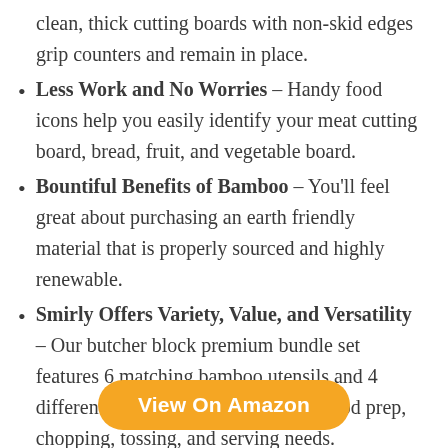clean, thick cutting boards with non-skid edges grip counters and remain in place.
Less Work and No Worries – Handy food icons help you easily identify your meat cutting board, bread, fruit, and vegetable board.
Bountiful Benefits of Bamboo – You'll feel great about purchasing an earth friendly material that is properly sourced and highly renewable.
Smirly Offers Variety, Value, and Versatility – Our butcher block premium bundle set features 6 matching bamboo utensils and 4 differently sized boards for all your food prep, chopping, tossing, and serving needs.
View On Amazon